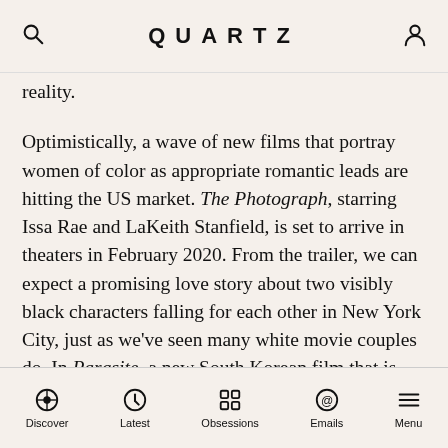QUARTZ
reality.
Optimistically, a wave of new films that portray women of color as appropriate romantic leads are hitting the US market. The Photograph, starring Issa Rae and LaKeith Stanfield, is set to arrive in theaters in February 2020. From the trailer, we can expect a promising love story about two visibly black characters falling for each other in New York City, just as we've seen many white movie couples do. In Parasite, a new South Korean film that is gaining popularity in the US, a steamy sex scene between two Asian characters is the first of few to draw the attention of Western viewers.
Maybe it's safe to assume that racial and cultural bias in dating will see a downfall as these movies and TV shows
Discover  Latest  Obsessions  Emails  Menu